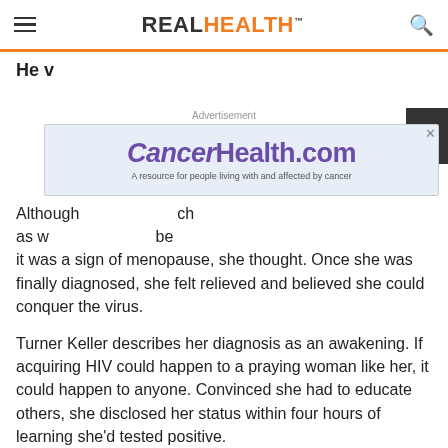REAL HEALTH
He v
[Figure (screenshot): CancerHealth.com advertisement banner — purple text logo reading 'CancerHealth.com' with tagline 'A resource for people living with and affected by cancer' on light blue/lavender background]
Although [partially obscured] ch as w [partially obscured] be it was a sign of menopause, she thought. Once she was finally diagnosed, she felt relieved and believed she could conquer the virus.
Turner Keller describes her diagnosis as an awakening. If acquiring HIV could happen to a praying woman like her, it could happen to anyone. Convinced she had to educate others, she disclosed her status within four hours of learning she'd tested positive.
She shared her initial HIV diagnosis—and, later, her AIDS diagnosis—with fellow church members during a prayer service at her home.